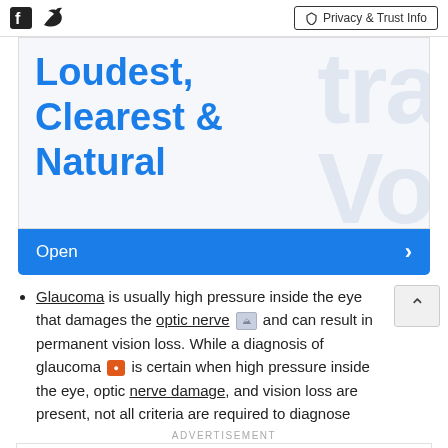Facebook | Twitter | Privacy & Trust Info
[Figure (illustration): Advertisement banner showing 'Loudest, Clearest & Natural' text in blue with UltraVoice watermark, with an Open button below]
Glaucoma is usually high pressure inside the eye that damages the optic nerve [image icon] and can result in permanent vision loss. While a diagnosis of glaucoma [camera icon] is certain when high pressure inside the eye, optic nerve damage, and vision loss are present, not all criteria are required to diagnose
[Figure (illustration): Bottom advertisement: UltraVoice Speech Device. Better Than An Artificial Larynx. Contact Us Today. with OPEN button]